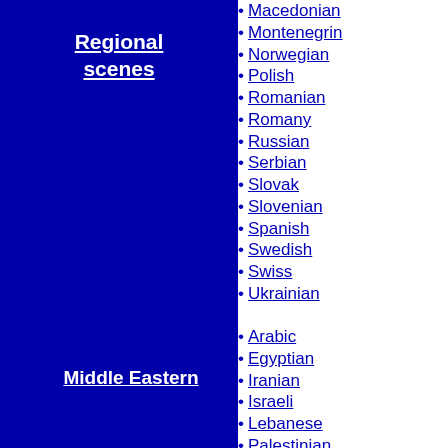Regional scenes
Macedonian
Montenegrin
Norwegian
Polish
Romanian
Romany
Russian
Serbian
Slovak
Slovenian
Spanish
Swedish
Swiss
Ukrainian
Middle Eastern
Arabic
Egyptian
Iranian
Israeli
Lebanese
Palestinian
Saudi Arabian
Tunisian
Turkish
Yemeni